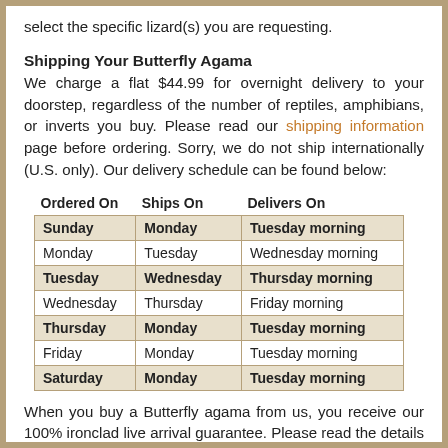select the specific lizard(s) you are requesting.
Shipping Your Butterfly Agama
We charge a flat $44.99 for overnight delivery to your doorstep, regardless of the number of reptiles, amphibians, or inverts you buy. Please read our shipping information page before ordering. Sorry, we do not ship internationally (U.S. only). Our delivery schedule can be found below:
| Ordered On | Ships On | Delivers On |
| --- | --- | --- |
| Sunday | Monday | Tuesday morning |
| Monday | Tuesday | Wednesday morning |
| Tuesday | Wednesday | Thursday morning |
| Wednesday | Thursday | Friday morning |
| Thursday | Monday | Tuesday morning |
| Friday | Monday | Tuesday morning |
| Saturday | Monday | Tuesday morning |
When you buy a Butterfly agama from us, you receive our 100% ironclad live arrival guarantee. Please read the details of our guarantee before ordering.
Because we responsibly offer reptiles for sale online (as